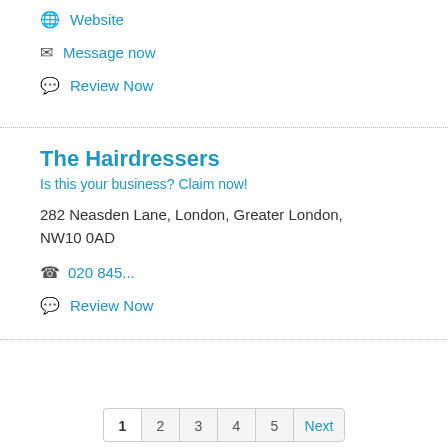🌐 Website
✉ Message now
💬 Review Now
The Hairdressers
Is this your business? Claim now!
282 Neasden Lane, London, Greater London, NW10 0AD
📞 020 845...
💬 Review Now
1  2  3  4  5  Next